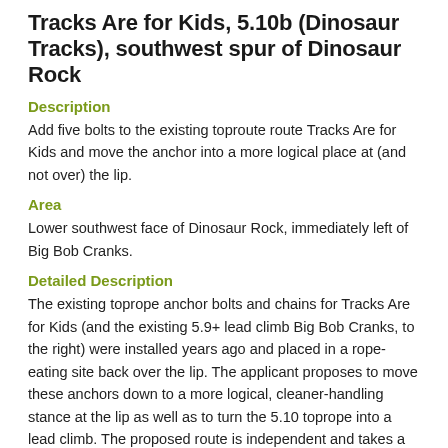Tracks Are for Kids, 5.10b (Dinosaur Tracks), southwest spur of Dinosaur Rock
Description
Add five bolts to the existing toproute route Tracks Are for Kids and move the anchor into a more logical place at (and not over) the lip.
Area
Lower southwest face of Dinosaur Rock, immediately left of Big Bob Cranks.
Detailed Description
The existing toprope anchor bolts and chains for Tracks Are for Kids (and the existing 5.9+ lead climb Big Bob Cranks, to the right) were installed years ago and placed in a rope-eating site back over the lip. The applicant proposes to move these anchors down to a more logical, cleaner-handling stance at the lip as well as to turn the 5.10 toprope into a lead climb. The proposed route is independent and takes a very direct line from the base of the wall to the 2-bolt anchor. The first bolt is about 15 feet up, clippable from an easy ledge.